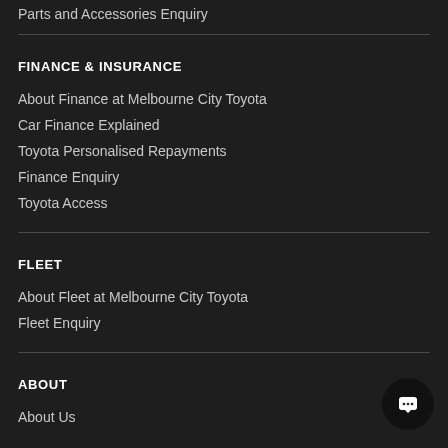Parts and Accessories Enquiry
FINANCE & INSURANCE
About Finance at Melbourne City Toyota
Car Finance Explained
Toyota Personalised Repayments
Finance Enquiry
Toyota Access
FLEET
About Fleet at Melbourne City Toyota
Fleet Enquiry
ABOUT
About Us
[Figure (illustration): Chat button icon (speech bubble) in bottom right corner]